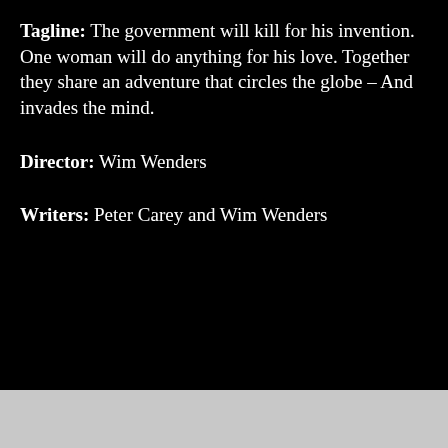Tagline: The government will kill for his invention. One woman will do anything for his love. Together they share an adventure that circles the globe – And invades the mind.
Director: Wim Wenders
Writers: Peter Carey and Wim Wenders